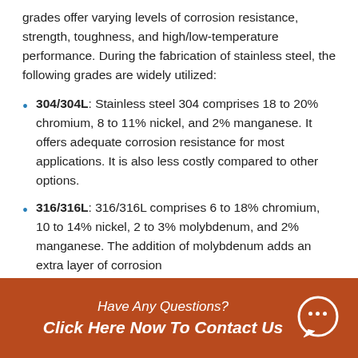grades offer varying levels of corrosion resistance, strength, toughness, and high/low-temperature performance. During the fabrication of stainless steel, the following grades are widely utilized:
304/304L: Stainless steel 304 comprises 18 to 20% chromium, 8 to 11% nickel, and 2% manganese. It offers adequate corrosion resistance for most applications. It is also less costly compared to other options.
316/316L: 316/316L comprises 6 to 18% chromium, 10 to 14% nickel, 2 to 3% molybdenum, and 2% manganese. The addition of molybdenum adds an extra layer of corrosion
Have Any Questions?
Click Here Now To Contact Us